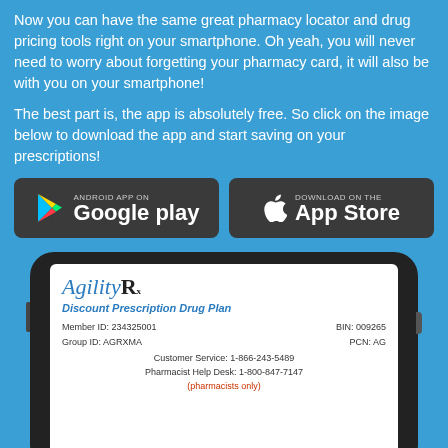Now you can have the same great pharmacy locator and drug pricing tools right on your smartphone. Oh yeah, you will never need to worry about forgetting your pharmacy card, it will also be with you on your smartphone!
The best part is, the app is absolutely free. So click on the image below to download the app and start saving on your prescriptions!
[Figure (logo): Google Play store badge - dark rounded rectangle with Google Play triangle icon and 'ANDROID APP ON Google play' text]
[Figure (logo): Apple App Store badge - dark rounded rectangle with Apple logo and 'Download on the App Store' text]
[Figure (screenshot): Smartphone displaying AgilityRx Discount Prescription Drug Plan card with Member ID: 234325001, BIN: 009265, Group ID: AGRXMA, PCN: AG, Customer Service: 1-866-243-5489, Pharmacist Help Desk: 1-800-847-7147 (pharmacists only)]